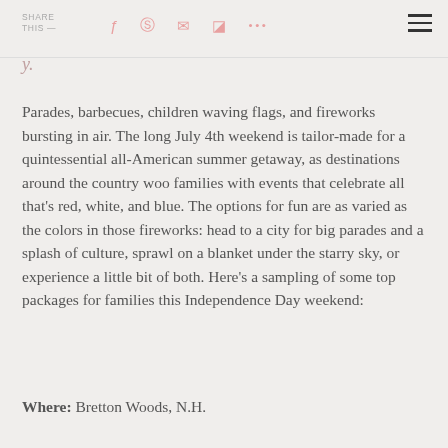SHARE THIS —
Parades, barbecues, children waving flags, and fireworks bursting in air. The long July 4th weekend is tailor-made for a quintessential all-American summer getaway, as destinations around the country woo families with events that celebrate all that's red, white, and blue. The options for fun are as varied as the colors in those fireworks: head to a city for big parades and a splash of culture, sprawl on a blanket under the starry sky, or experience a little bit of both. Here's a sampling of some top packages for families this Independence Day weekend:
Where: Bretton Woods, N.H.